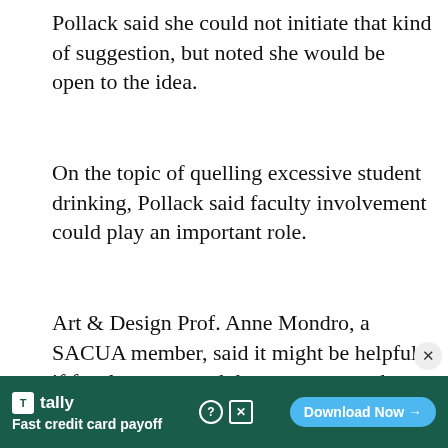Pollack said she could not initiate that kind of suggestion, but noted she would be open to the idea.
On the topic of quelling excessive student drinking, Pollack said faculty involvement could play an important role.
Art & Design Prof. Anne Mondro, a SACUA member, said it might be helpful if faculty suggested dry events to students in class.
[Figure (other): Advertisement banner for Tally app — 'Fast credit card payoff' with a Download Now button on a dark green background]